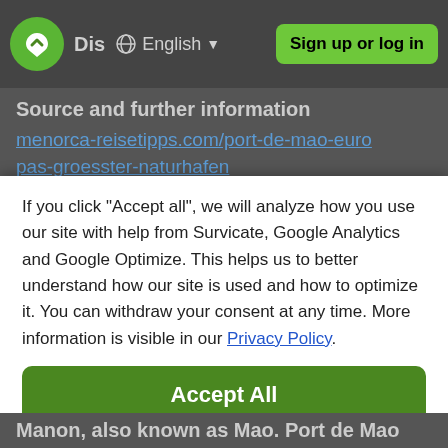Dis  English  Sign up or log in
Source and further information
menorca-reisetipps.com/port-de-mao-europas-groesster-naturhafen
If you click "Accept all", we will analyze how you use our site with help from Survicate, Google Analytics and Google Optimize. This helps us to better understand how our site is used and how to optimize it. You can withdraw your consent at any time. More information is visible in our Privacy Policy.
Accept All
Decline
Details
Manon, also known as Mao. Port de Mao